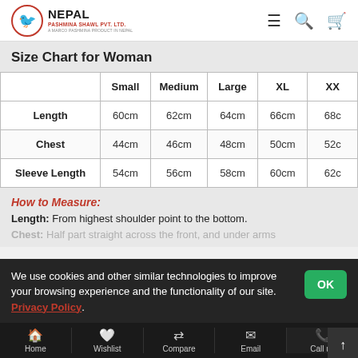Nepal Pashmina Shawl Pvt. Ltd.
Size Chart for Woman
|  | Small | Medium | Large | XL | XX |
| --- | --- | --- | --- | --- | --- |
| Length | 60cm | 62cm | 64cm | 66cm | 68c… |
| Chest | 44cm | 46cm | 48cm | 50cm | 52c… |
| Sleeve Length | 54cm | 56cm | 58cm | 60cm | 62c… |
How to Measure:
Length: From highest shoulder point to the bottom.
Chest: Half part straight across the front, and under arms to just bott…
We use cookies and other similar technologies to improve your browsing experience and the functionality of our site. Privacy Policy.
Home | Wishlist | Compare | Email | Call us